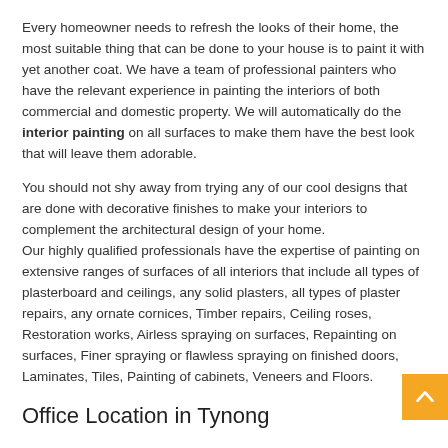Every homeowner needs to refresh the looks of their home, the most suitable thing that can be done to your house is to paint it with yet another coat. We have a team of professional painters who have the relevant experience in painting the interiors of both commercial and domestic property. We will automatically do the interior painting on all surfaces to make them have the best look that will leave them adorable.
You should not shy away from trying any of our cool designs that are done with decorative finishes to make your interiors to complement the architectural design of your home. Our highly qualified professionals have the expertise of painting on extensive ranges of surfaces of all interiors that include all types of plasterboard and ceilings, any solid plasters, all types of plaster repairs, any ornate cornices, Timber repairs, Ceiling roses, Restoration works, Airless spraying on surfaces, Repainting on surfaces, Finer spraying or flawless spraying on finished doors, Laminates, Tiles, Painting of cabinets, Veneers and Floors.
Office Location in Tynong